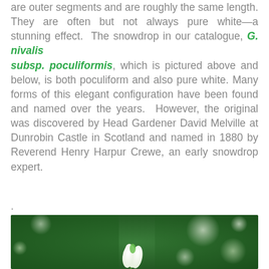are outer segments and are roughly the same length. They are often but not always pure white—a stunning effect. The snowdrop in our catalogue, G. nivalis subsp. poculiformis, which is pictured above and below, is both poculiform and also pure white. Many forms of this elegant configuration have been found and named over the years. However, the original was discovered by Head Gardener David Melville at Dunrobin Castle in Scotland and named in 1880 by Reverend Henry Harpur Crewe, an early snowdrop expert.
.
[Figure (photo): Close-up photograph of a snowdrop flower (Galanthus) with a green blurred background and bokeh light circles. The white flower hangs downward against a lush green backdrop.]